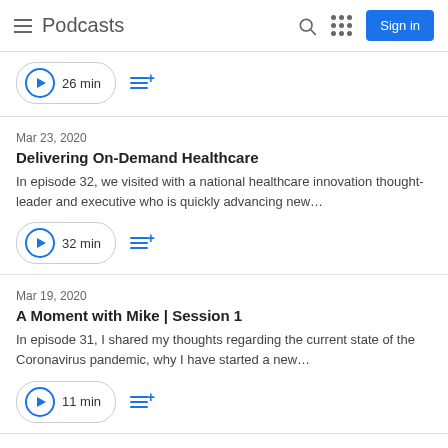Podcasts
26 min
Mar 23, 2020
Delivering On-Demand Healthcare
In episode 32, we visited with a national healthcare innovation thought-leader and executive who is quickly advancing new…
32 min
Mar 19, 2020
A Moment with Mike | Session 1
In episode 31, I shared my thoughts regarding the current state of the Coronavirus pandemic, why I have started a new…
11 min